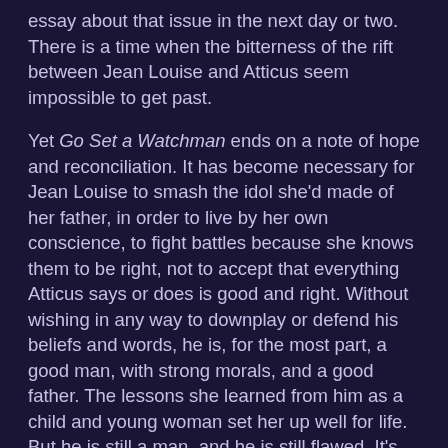essay about that issue in the next day or two. There is a time when the bitterness of the rift between Jean Louise and Atticus seem impossible to get past.
Yet Go Set a Watchman ends on a note of hope and reconciliation. It has become necessary for Jean Louise to smash the idol she'd made of her father, in order to live by her own conscience, to fight battles because she knows them to be right, not to accept that everything Atticus says or does is good and right. Without wishing in any way to downplay or defend his beliefs and words, he is, for the most part, a good man, with strong morals, and a good father. The lessons she learned from him as a child and young woman set her up well for life. But he is still a man, and he is still flawed. It's as true for the reader as it is for Jean Louise; we come of age alongside her. Heroes will only lead us so far. Ultimately, we must become our own heroes.
Go Set A Watchman is not as wonderful a novel as To Kill A Mockingbird, but it was never going to be. It's a patchy, but pretty good, literary novel of its time; darker and more nuanced than its sister novel. It's interesting to compare the